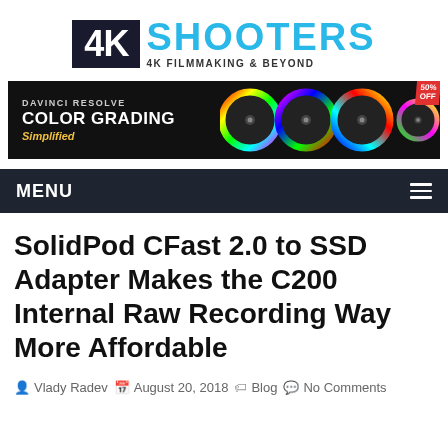[Figure (logo): 4K Shooters logo — dark box with '4K' in white, followed by 'SHOOTERS' in cyan blue, tagline '4K FILMMAKING & BEYOND' below]
[Figure (screenshot): DaVinci Resolve Color Grading Simplified advertisement banner — dark background, four color wheel knobs, red badge '50% OFF']
MENU
SolidPod CFast 2.0 to SSD Adapter Makes the C200 Internal Raw Recording Way More Affordable
Vlady Radev   August 20, 2018   Blog   No Comments